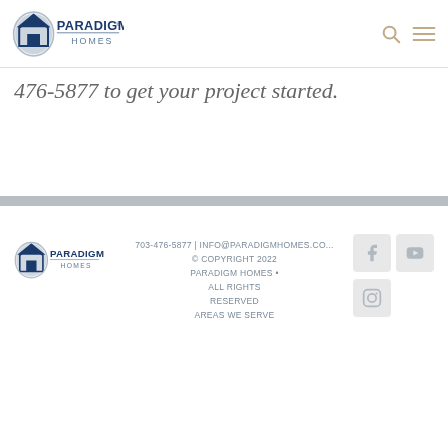Paradigm Homes logo header with search and menu icons
476-5877 to get your project started.
703-476-5877 | INFO@PARADIGMHOMES.CO... © COPYRIGHT 2022 PARADIGM HOMES • ALL RIGHTS RESERVED AREAS WE SERVE